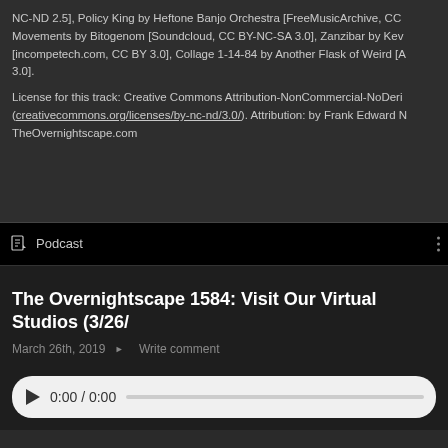NC-ND 2.5], Policy King by Heftone Banjo Orchestra [FreeMusicArchive, CC Movements by Bitogenom [Soundcloud, CC BY-NC-SA 3.0], Zanzibar by Kev [incompetech.com, CC BY 3.0], Collage 1-14-84 by Another Flask of Weird [A 3.0].
License for this track: Creative Commons Attribution-NonCommercial-NoDeri (creativecommons.org/licenses/by-nc-nd/3.0/). Attribution: by Frank Edward N TheOvernightscape.com
Podcast
The Overnightscape 1584: Visit Our Virtual Studios (3/26/
March 26th, 2019  ▶  Write comment
[Figure (screenshot): Audio player bar showing play button, time display 0:00 / 0:00, and a progress bar on a light grey rounded background.]